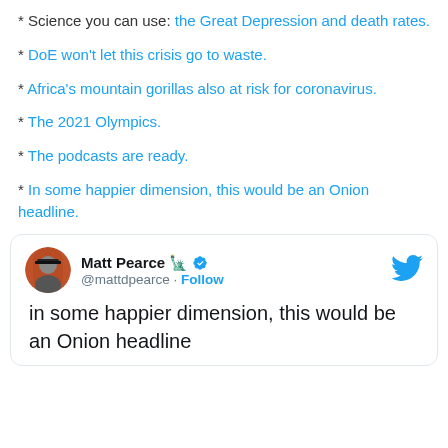* Science you can use: the Great Depression and death rates.
* DoE won't let this crisis go to waste.
* Africa's mountain gorillas also at risk for coronavirus.
* The 2021 Olympics.
* The podcasts are ready.
* In some happier dimension, this would be an Onion headline.
[Figure (screenshot): Embedded tweet from @mattdpearce (Matt Pearce) with Follow button, Twitter bird logo, and tweet text: 'in some happier dimension, this would be an Onion headline']